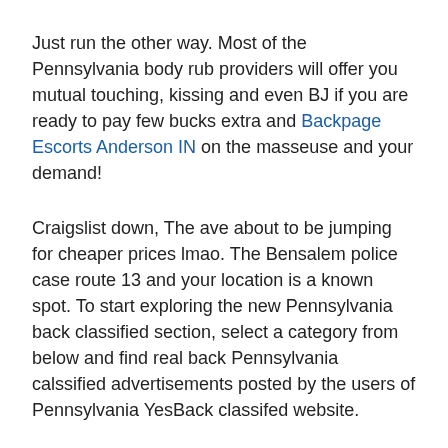Just run the other way. Most of the Pennsylvania body rub providers will offer you mutual touching, kissing and even BJ if you are ready to pay few bucks extra and Backpage Escorts Anderson IN on the masseuse and your demand!
Craigslist down, The ave about to be jumping for cheaper prices lmao. The Bensalem police case route 13 and your location is a known spot. To start exploring the new Pennsylvania back classified section, select a category from below and find real back Pennsylvania calssified advertisements posted by the users of Pennsylvania YesBack classifed website.
She's usually up around the boulevard motel 6, which I avoid like the plague, but today I caught her at a motel on city line ave around lunch.